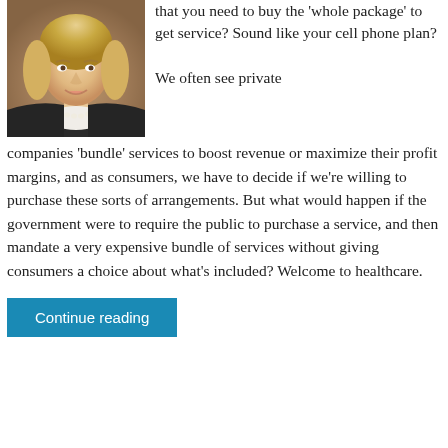[Figure (photo): Headshot of a woman with blonde hair wearing a dark blazer and pearl necklace, smiling]
that you need to buy the ‘whole package’ to get service? Sound like your cell phone plan?

We often see private companies ‘bundle’ services to boost revenue or maximize their profit margins, and as consumers, we have to decide if we’re willing to purchase these sorts of arrangements. But what would happen if the government were to require the public to purchase a service, and then mandate a very expensive bundle of services without giving consumers a choice about what’s included? Welcome to healthcare.
Continue reading